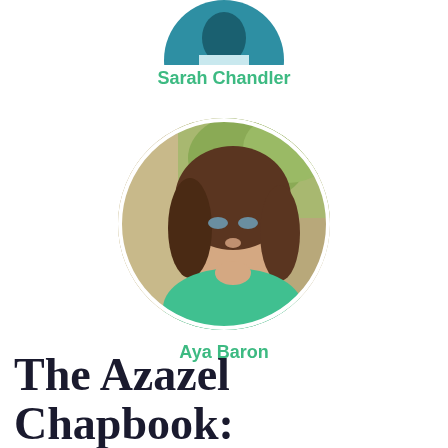[Figure (photo): Partial circular portrait of Sarah Chandler, teal/blue toned, cropped at top of page]
Sarah Chandler
[Figure (photo): Circular portrait photo of Aya Baron, a woman with curly brown hair and blue-green eyes, wearing a teal top, photographed outdoors]
Aya Baron
The Azazel Chapbook: